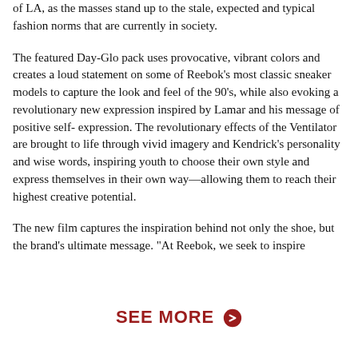of LA, as the masses stand up to the stale, expected and typical fashion norms that are currently in society.
The featured Day-Glo pack uses provocative, vibrant colors and creates a loud statement on some of Reebok's most classic sneaker models to capture the look and feel of the 90's, while also evoking a revolutionary new expression inspired by Lamar and his message of positive self- expression. The revolutionary effects of the Ventilator are brought to life through vivid imagery and Kendrick's personality and wise words, inspiring youth to choose their own style and express themselves in their own way—allowing them to reach their highest creative potential.
The new film captures the inspiration behind not only the shoe, but the brand's ultimate message. "At Reebok, we seek to inspire
SEE MORE ❯